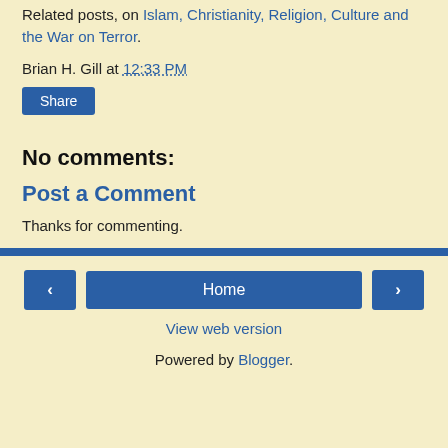Related posts, on Islam, Christianity, Religion, Culture and the War on Terror.
Brian H. Gill at 12:33 PM
Share
No comments:
Post a Comment
Thanks for commenting.
< Home > View web version Powered by Blogger.